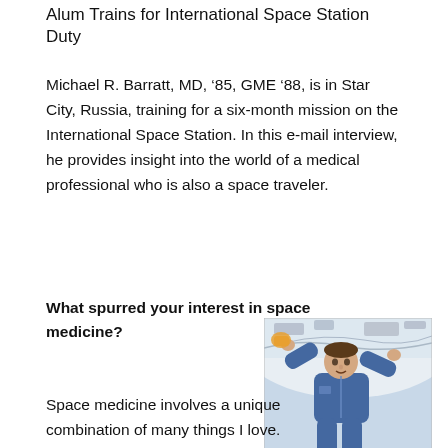Alum Trains for International Space Station Duty
Michael R. Barratt, MD, ‘85, GME ‘88, is in Star City, Russia, training for a six-month mission on the International Space Station. In this e-mail interview, he provides insight into the world of a medical professional who is also a space traveler.
What spurred your interest in space medicine?
[Figure (photo): Astronaut Dr. Michael Barratt training in a spacecraft interior, wearing a blue flight suit, floating in microgravity.]
Astronaut Dr. Michael Barratt trains
Space medicine involves a unique combination of many things I love. Aside from the direct medical aspect, this includes flying, diving,